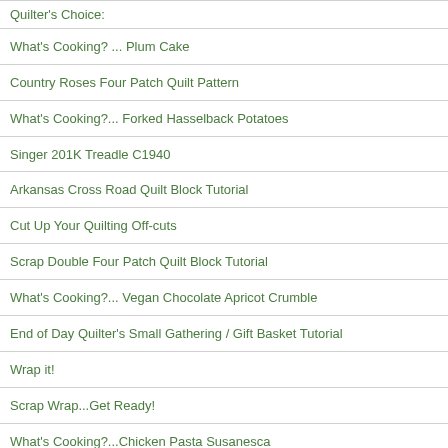Quilter's Choice:
What's Cooking? ... Plum Cake
Country Roses Four Patch Quilt Pattern
What's Cooking?... Forked Hasselback Potatoes
Singer 201K Treadle C1940
Arkansas Cross Road Quilt Block Tutorial
Cut Up Your Quilting Off-cuts
Scrap Double Four Patch Quilt Block Tutorial
What's Cooking?... Vegan Chocolate Apricot Crumble
End of Day Quilter's Small Gathering / Gift Basket Tutorial
Wrap it!
Scrap Wrap...Get Ready!
What's Cooking?...Chicken Pasta Susanesca